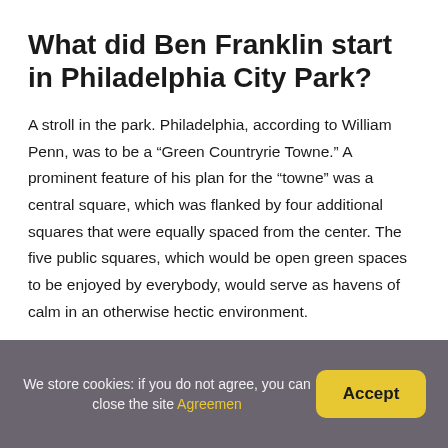What did Ben Franklin start in Philadelphia City Park?
A stroll in the park. Philadelphia, according to William Penn, was to be a “Green Countryrie Towne.” A prominent feature of his plan for the “towne” was a central square, which was flanked by four additional squares that were equally spaced from the center. The five public squares, which would be open green spaces to be enjoyed by everybody, would serve as havens of calm in an otherwise hectic environment.
We store cookies: if you do not agree, you can close the site Agreemen